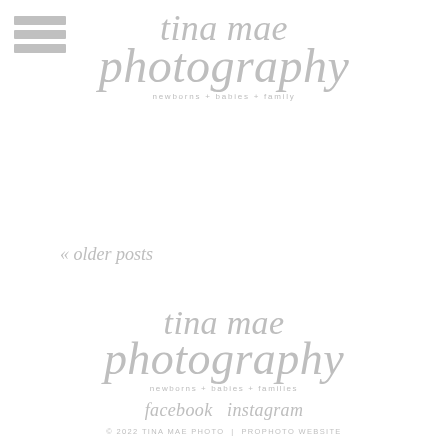tina mae photography newborns + babies + family
« older posts
[Figure (logo): Tina Mae Photography footer logo with script text 'tina mae photography' and tagline 'newborns + babies + families']
facebook  instagram
© 2022 TINA MAE PHOTO | PROPHOTO WEBSITE